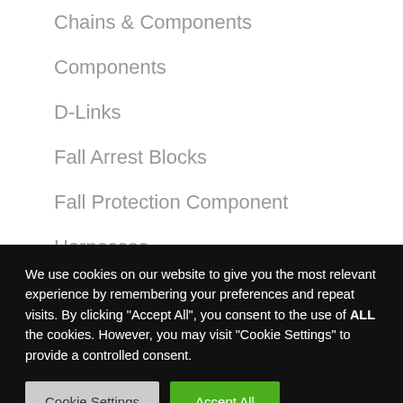Chains & Components
Components
D-Links
Fall Arrest Blocks
Fall Protection Component
Harnesses
Hoists
Hooks
We use cookies on our website to give you the most relevant experience by remembering your preferences and repeat visits. By clicking "Accept All", you consent to the use of ALL the cookies. However, you may visit "Cookie Settings" to provide a controlled consent.
Cookie Settings | Accept All